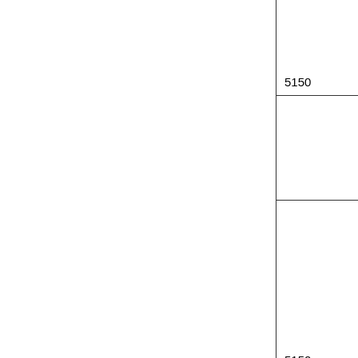| 5150 | 12AX7 factory |
|  | groove tubes |
| 5150 | 12ax7 |
| 5150 II | Ruby |
|  |  |